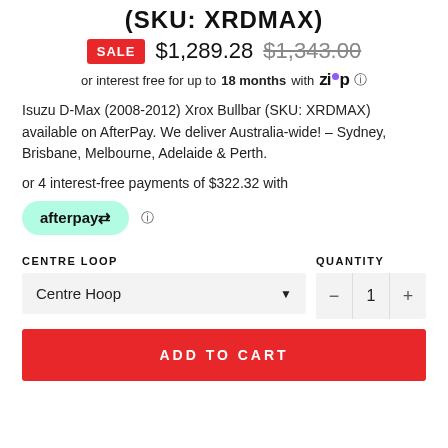(SKU: XRDMAX)
SALE  $1,289.28  $1,343.00
or interest free for up to 18 months with zip
Isuzu D-Max (2008-2012) Xrox Bullbar (SKU: XRDMAX) available on AfterPay. We deliver Australia-wide! – Sydney, Brisbane, Melbourne, Adelaide & Perth.
or 4 interest-free payments of $322.32 with afterpay
CENTRE LOOP
QUANTITY
Centre Hoop
ADD TO CART